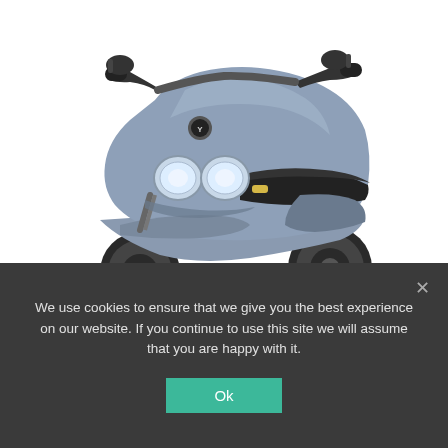[Figure (photo): Silver/grey Yamaha Neo electric scooter shown at a three-quarter front view on white background]
WORLD WIDE CAR NEWS
Yamaha Neo's New electric scooter Review
We use cookies to ensure that we give you the best experience on our website. If you continue to use this site we will assume that you are happy with it.